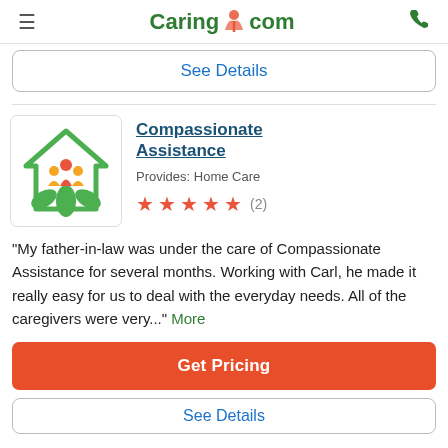Caring.com
See Details
Compassionate Assistance
Provides: Home Care
★★★★★ (2)
"My father-in-law was under the care of Compassionate Assistance for several months. Working with Carl, he made it really easy for us to deal with the everyday needs. All of the caregivers were very..." More
Get Pricing
See Details